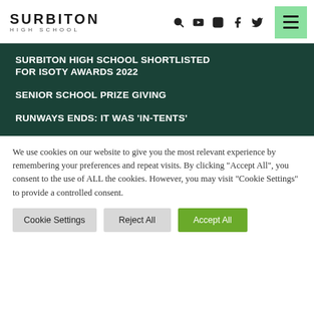SURBITON HIGH SCHOOL — navigation header with logo and icons
SURBITON HIGH SCHOOL SHORTLISTED FOR ISOTY AWARDS 2022
SENIOR SCHOOL PRIZE GIVING
RUNWAYS ENDS: IT WAS 'IN-TENTS'
We use cookies on our website to give you the most relevant experience by remembering your preferences and repeat visits. By clicking "Accept All", you consent to the use of ALL the cookies. However, you may visit "Cookie Settings" to provide a controlled consent.